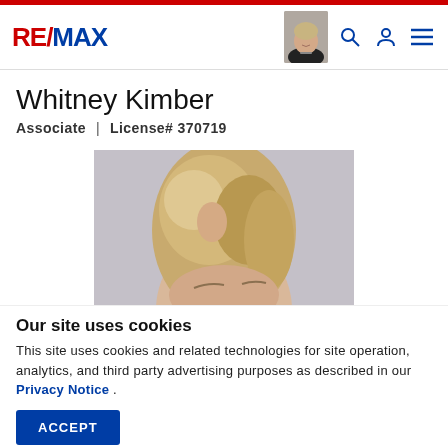RE/MAX
Whitney Kimber
Associate  |  License# 370719
[Figure (photo): Cropped photo of Whitney Kimber, showing top of head with blonde hair against grey background]
Our site uses cookies
This site uses cookies and related technologies for site operation, analytics, and third party advertising purposes as described in our Privacy Notice .
ACCEPT